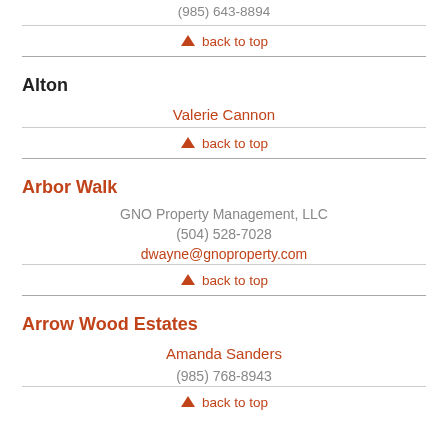(985) 643-8894
back to top
Alton
Valerie Cannon
back to top
Arbor Walk
GNO Property Management, LLC
(504) 528-7028
dwayne@gnoproperty.com
back to top
Arrow Wood Estates
Amanda Sanders
(985) 768-8943
back to top